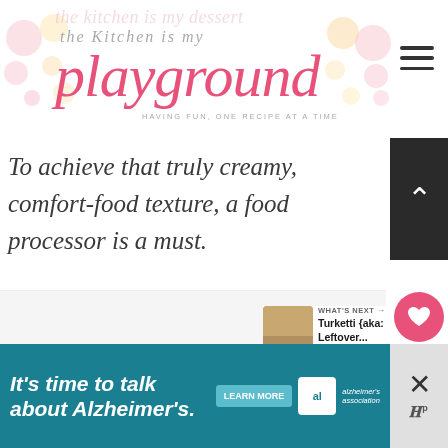The Kitchen is my Playground — having fun, one recipe at a time
To achieve that truly creamy, comfort-food texture, a food processor is a must.
[Figure (photo): Large food photograph, mostly white/light background area]
[Figure (other): Heart/like button (pink circle with heart icon) and share button (white circle with share icon)]
WHAT'S NEXT → Turketti {aka: Leftover...
[Figure (other): Advertisement banner: It's time to talk about Alzheimer's. LEARN MORE. Alzheimer's Association logo.]